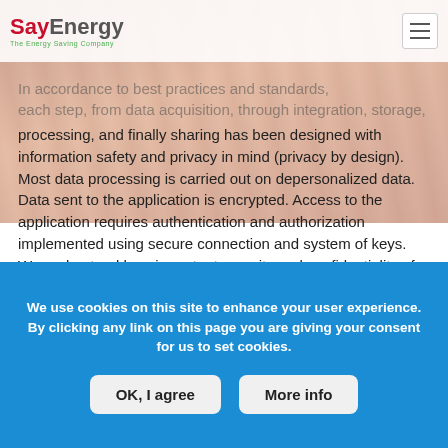SayEnergy – The Energy Saving Company
In accordance to best practices and standards, each step, from data acquisition, through integration, storage, processing, and finally sharing has been designed with information safety and privacy in mind (privacy by design). Most data processing is carried out on depersonalized data. Data sent to the application is encrypted. Access to the application requires authentication and authorization implemented using secure connection and system of keys. We understand how important security and confidentiality of Customer data is, we ensure it with best practices and secure technology.
⊕ go up
Polski  English
We use cookies on this site to enhance your user experience. By clicking any link on this page you are giving your consent for us to set cookies.